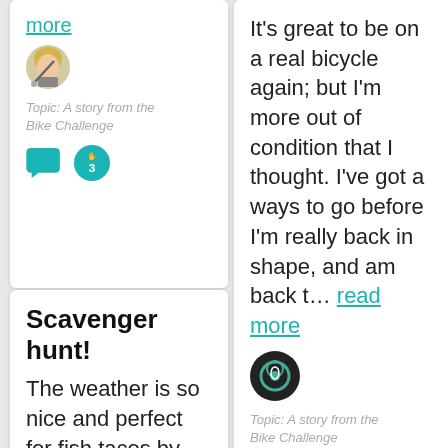more
[Figure (illustration): Avatar of a character with blond hair and a weapon]
Topic: A story from the Bike Challenge
[Figure (illustration): Teal chat bubble icon and teal circle with hand and number 3]
It's great to be on a real bicycle again; but I'm more out of condition that I thought. I've got a ways to go before I'm really back in shape, and am back t... read more
[Figure (illustration): Dark avatar with circular design]
Topic: A story from the Bike Challenge
[Figure (illustration): Teal chat bubble icon and teal circle with hand and number 5]
Scavenger hunt!
The weather is so nice and perfect for fish tacos by the beach